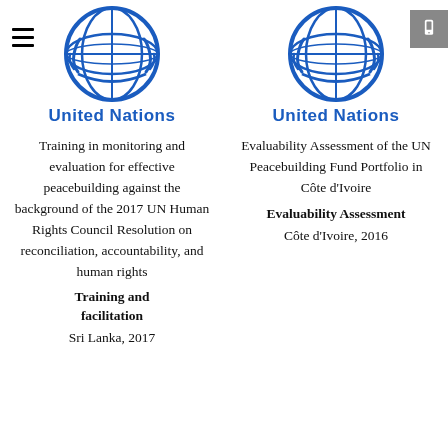[Figure (logo): United Nations logo (blue emblem with globe and laurel wreath) - left column]
United Nations
Training in monitoring and evaluation for effective peacebuilding against the background of the 2017 UN Human Rights Council Resolution on reconciliation, accountability, and human rights
Training and facilitation
Sri Lanka, 2017
[Figure (logo): United Nations logo (blue emblem with globe and laurel wreath) - right column]
United Nations
Evaluability Assessment of the UN Peacebuilding Fund Portfolio in Côte d'Ivoire
Evaluability Assessment
Côte d'Ivoire, 2016